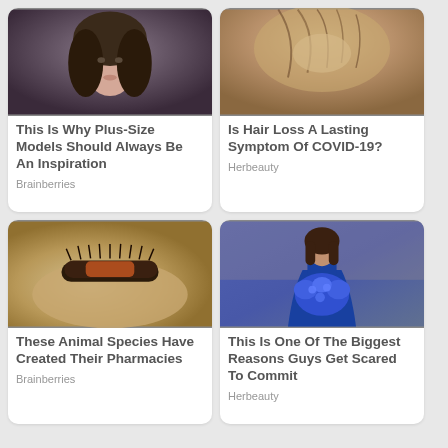[Figure (photo): Portrait of a young woman with long dark wavy hair against a dark background]
This Is Why Plus-Size Models Should Always Be An Inspiration
Brainberries
[Figure (photo): Close-up of a person's scalp showing hair thinning/hair loss]
Is Hair Loss A Lasting Symptom Of COVID-19?
Herbeauty
[Figure (photo): Close-up of a fuzzy caterpillar resting on a human hand]
These Animal Species Have Created Their Pharmacies
Brainberries
[Figure (photo): Woman in a blue dress holding a large bouquet of blue flowers]
This Is One Of The Biggest Reasons Guys Get Scared To Commit
Herbeauty